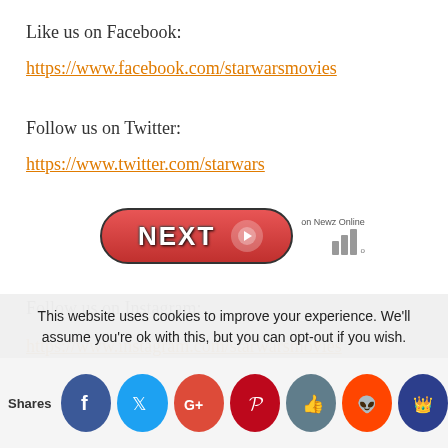Like us on Facebook:
https://www.facebook.com/starwarsmovies
Follow us on Twitter:
https://www.twitter.com/starwars
[Figure (other): NEXT button with arrow, labeled 'on Newz Online' with bar chart icon]
Follow us on Instagram:
https://www.instagram.com/starwarsmovies
This website uses cookies to improve your experience. We'll assume you're ok with this, but you can opt-out if you wish.
[Figure (other): Social sharing bar with Facebook, Twitter, Google+, Pinterest, LinkedIn, Reddit, and Crown icons. Labeled 'Shares']